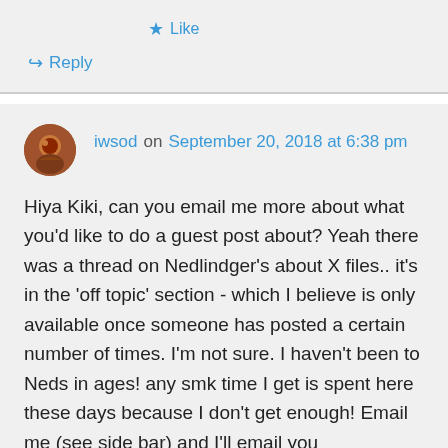★ Like
↪ Reply
iwsod on September 20, 2018 at 6:38 pm
Hiya Kiki, can you email me more about what you'd like to do a guest post about? Yeah there was a thread on Nedlindger's about X files.. it's in the 'off topic' section - which I believe is only available once someone has posted a certain number of times. I'm not sure. I haven't been to Neds in ages! any smk time I get is spent here these days because I don't get enough! Email me (see side bar) and I'll email you